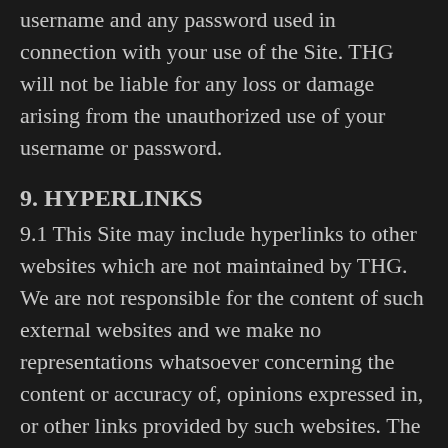username and any password used in connection with your use of the Site. THG will not be liable for any loss or damage arising from the unauthorized use of your username or password.
9. HYPERLINKS
9.1 This Site may include hyperlinks to other websites which are not maintained by THG. We are not responsible for the content of such external websites and we make no representations whatsoever concerning the content or accuracy of, opinions expressed in, or other links provided by such websites. The inclusion of any hyperlink to external websites does not imply endorsement by THG